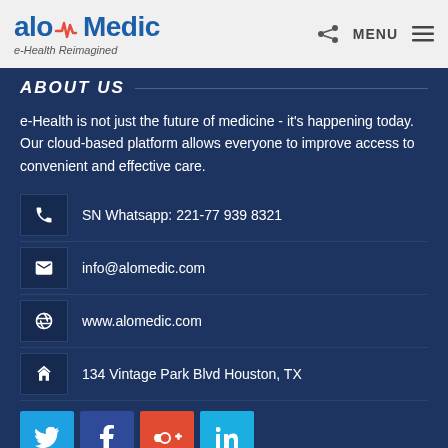aloMedic e-Health Reimagined | MENU
ABOUT US
e-Health is not just the future of medicine - it's happening today. Our cloud-based platform allows everyone to improve access to convenient and effective care.
SN Whatsapp: 221-77 939 8321
info@alomedic.com
www.alomedic.com
134 Vintage Park Blvd Houston, TX
[Figure (other): Social media icons: Twitter, Facebook, Google+, LinkedIn]
QUICK LINKS
FAQ